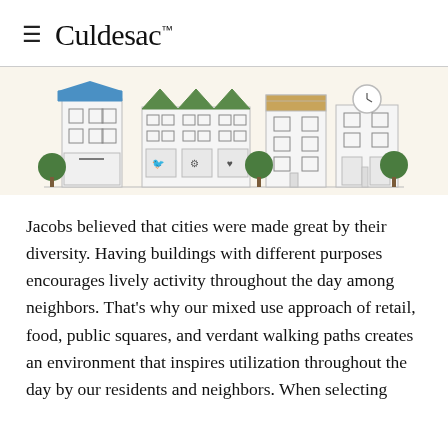≡ Culdesac™
[Figure (illustration): Illustrated streetscape showing a row of mixed-use buildings with retail storefronts, green trees, and varied architectural styles drawn in a simple line-art style with green and blue accents.]
Jacobs believed that cities were made great by their diversity. Having buildings with different purposes encourages lively activity throughout the day among neighbors. That's why our mixed use approach of retail, food, public squares, and verdant walking paths creates an environment that inspires utilization throughout the day by our residents and neighbors. When selecting